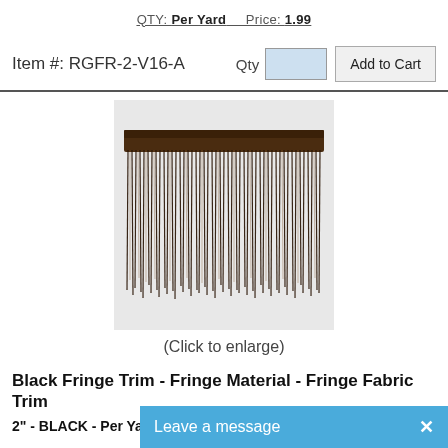QTY: Per Yard   Price: 1.99
Item #: RGFR-2-V16-A   Qty  [input]  Add to Cart
[Figure (photo): Black fringe trim fabric swatch showing dark brown/black fringe strands hanging from a woven header]
(Click to enlarge)
Black Fringe Trim - Fringe Material - Fringe Fabric Trim
2" -  BLACK - Per Yard
Use fringe trim to add a fun look to your home decor items including curtains, lampshades, pillows, bed skirts, and blankets. Fringe material is also often used to add movement and style to clothing such as blouses,skirts, dresses, jackets, jeans, costumes, dance wear, and more! Add fringe fabric trim to accessories like purses, tote bags, hats, and lots more for a unique and finishing touch. This black fringe trim measures approximately 2 inches wide. Must p[...] yards for discounted price shown.
Leave a message  X